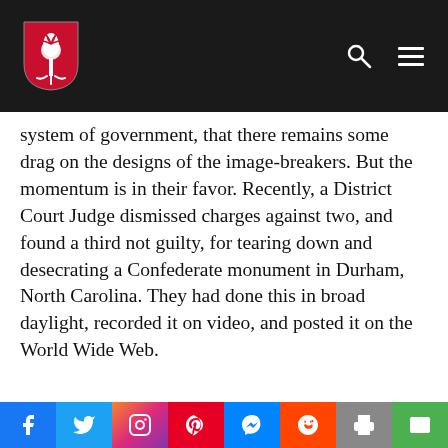[Website header with shield logo, search icon, and menu icon]
system of government, that there remains some drag on the designs of the image-breakers.  But the momentum is in their favor.  Recently, a District Court Judge dismissed charges against two, and found a third not guilty, for tearing down and desecrating a Confederate monument in Durham, North Carolina.  They had done this in broad daylight, recorded it on video, and posted it on the World Wide Web.
[Social share bar: Facebook, Twitter, Instagram, Pinterest, Messenger, Reddit, Print, Email]